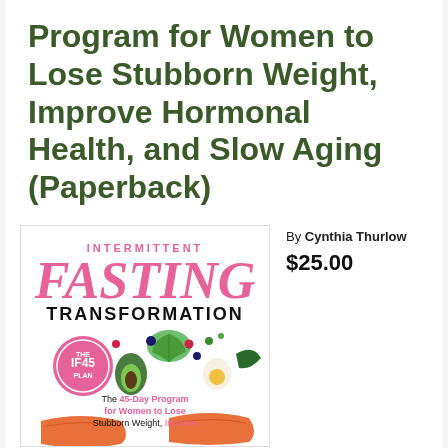Program for Women to Lose Stubborn Weight, Improve Hormonal Health, and Slow Aging (Paperback)
[Figure (illustration): Book cover of 'Intermittent Fasting Transformation' by Cynthia Thurlow. Pink and white cover with large pink italic 'FASTING' text, black 'TRANSFORMATION' text, pink circular badge reading 'THE IF45 PLAN', and food illustrations including avocado, lettuce, berries, egg, salmon. Subtitle: The 45-Day Program for Women to Lose Stubborn Weight, Improve...]
By Cynthia Thurlow
$25.00